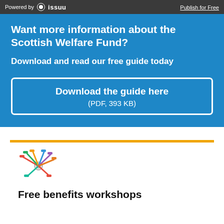Powered by issuu   Publish for Free
Want more information about the Scottish Welfare Fund?
Download and read our free guide today
Download the guide here
(PDF, 393 KB)
[Figure (illustration): Colorful bunch of keys illustration]
Free benefits workshops